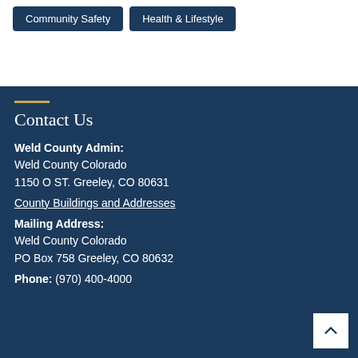Community Safety
Health & Lifestyle
Contact Us
Weld County Admin:
Weld County Colorado
1150 O ST. Greeley, CO 80631
County Buildings and Addresses
Mailing Address:
Weld County Colorado
PO Box 758 Greeley, CO 80632
Phone: (970) 400-4000